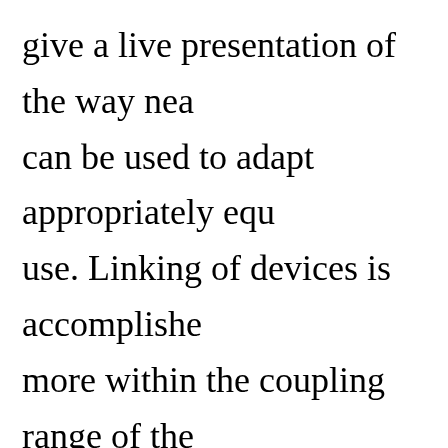give a live presentation of the way nea can be used to adapt appropriately equ use. Linking of devices is accomplishe more within the coupling range of the magnetic induction between loop ante allows communications between, and devices. NFC operates at 13.56 MHz, 106 kbit/s to 848 kbit/s. There are alre